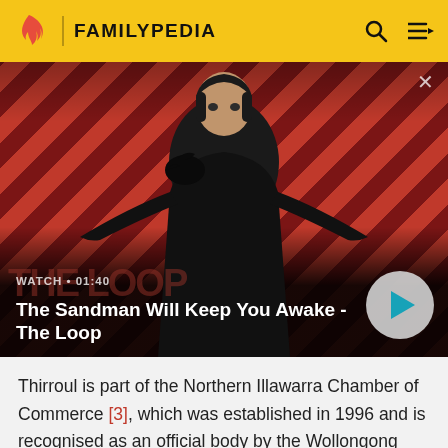FAMILYPEDIA
[Figure (screenshot): A video thumbnail showing a dark-clothed figure with a raven on their shoulder against a red diagonal striped background. Video labeled WATCH · 01:40 with title 'The Sandman Will Keep You Awake - The Loop' and a teal play button.]
Thirroul is part of the Northern Illawarra Chamber of Commerce [3], which was established in 1996 and is recognised as an official body by the Wollongong City Council. Its aim is to promote the identity of the Northern